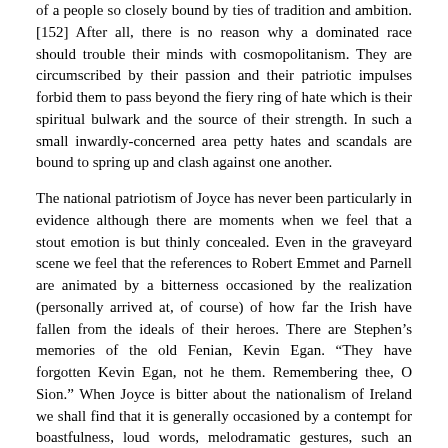of a people so closely bound by ties of tradition and ambition. [152] After all, there is no reason why a dominated race should trouble their minds with cosmopolitanism. They are circumscribed by their passion and their patriotic impulses forbid them to pass beyond the fiery ring of hate which is their spiritual bulwark and the source of their strength. In such a small inwardly-concerned area petty hates and scandals are bound to spring up and clash against one another.
The national patriotism of Joyce has never been particularly in evidence although there are moments when we feel that a stout emotion is but thinly concealed. Even in the graveyard scene we feel that the references to Robert Emmet and Parnell are animated by a bitterness occasioned by the realization (personally arrived at, of course) of how far the Irish have fallen from the ideals of their heroes. There are Stephen’s memories of the old Fenian, Kevin Egan. “They have forgotten Kevin Egan, not he them. Remembering thee, O Sion.” When Joyce is bitter about the nationalism of Ireland we shall find that it is generally occasioned by a contempt for boastfulness, loud words, melodramatic gestures, such an intolerant attitude as that evinced by the [153] irate Citizen in Barney Kiernan’s, for instance. Sentimentality is unendurable to Joyce; he will not accept it in any form. Bluster of any sort awakes a sharp impatient ridicule in the author and this is quickly evident in the first of the eight chapters which follow the Glasnevin episode. […; 154.]
[…]
Above all things one must not fall into the inclination to romanticize or sentimentalize [169] Bloom. It is true that he arouses sympathy